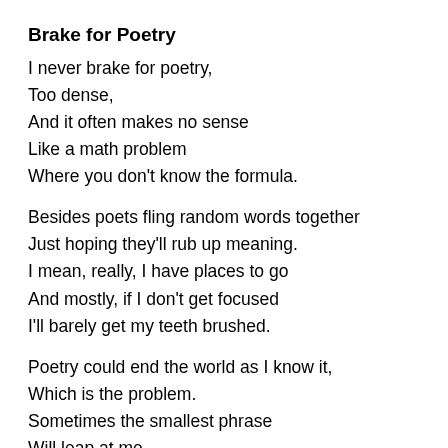Brake for Poetry
I never brake for poetry,
Too dense,
And it often makes no sense
Like a math problem
Where you don't know the formula.
Besides poets fling random words together
Just hoping they'll rub up meaning.
I mean, really, I have places to go
And mostly, if I don't get focused
I'll barely get my teeth brushed.
Poetry could end the world as I know it,
Which is the problem.
Sometimes the smallest phrase
Will leap at me,